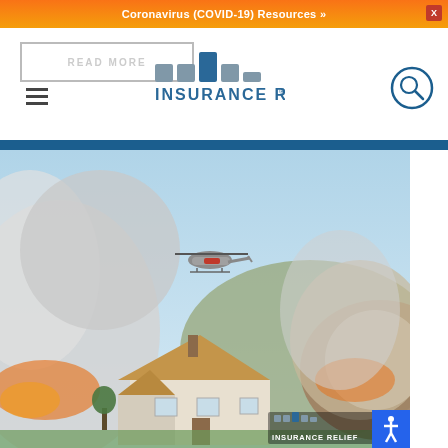Coronavirus (COVID-19) Resources »
[Figure (logo): Insurance Relief logo with colored square grid icons above text]
[Figure (photo): Wildfire scene with a helicopter flying over a house surrounded by smoke and fire in hills, with Insurance Relief watermark logo in lower right corner]